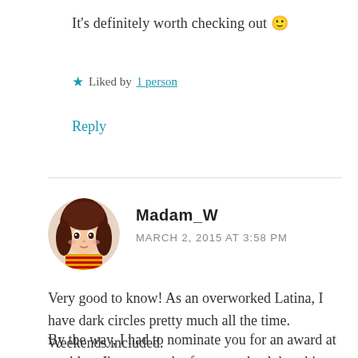It's definitely worth checking out 🙂
★ Liked by 1 person
Reply
[Figure (illustration): Anime-style avatar of a girl with long brown hair wearing a striped top, chibi style, circular avatar image.]
Madam_W
MARCH 2, 2015 AT 3:58 PM
Very good to know! As an overworked Latina, I have dark circles pretty much all the time. Weekends included.
By the way, I had to nominate you for an award at my blog. I'm not much of an award gal, but this one was actually kind of fun and I thought you'd